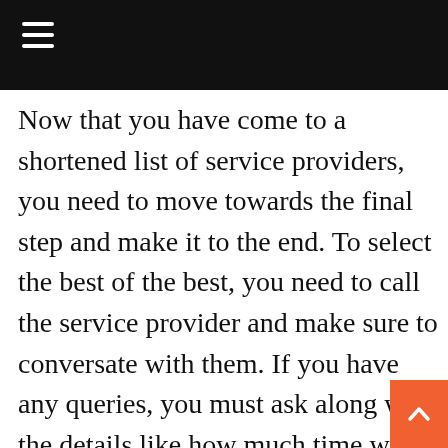≡
Now that you have come to a shortened list of service providers, you need to move towards the final step and make it to the end. To select the best of the best, you need to call the service provider and make sure to conversate with them. If you have any queries, you must ask along with the details like how much time will you take to reach the location, what is your per visit cost and how long does the warranty of the products and services last. You must also ensure that the electricians are good at communicating their word. This is important as you want to have a smooth interaction with the service provider and make sure they listen to your problems. If they